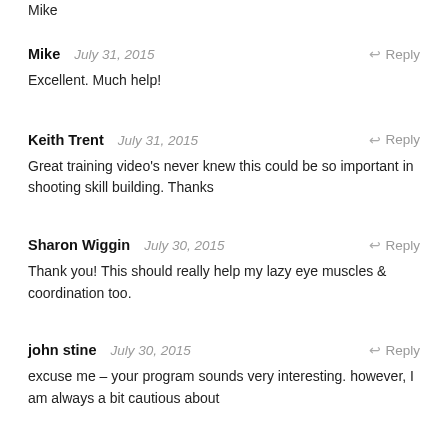Mike
Mike — July 31, 2015 — Reply
Excellent. Much help!
Keith Trent — July 31, 2015 — Reply
Great training video's never knew this could be so important in shooting skill building. Thanks
Sharon Wiggin — July 30, 2015 — Reply
Thank you! This should really help my lazy eye muscles & coordination too.
john stine — July 30, 2015 — Reply
excuse me – your program sounds very interesting. however, I am always a bit cautious about